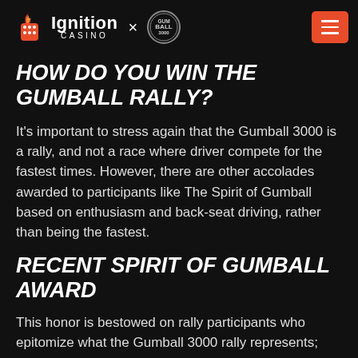Ignition Casino × Gumball 3000 logo with menu button
HOW DO YOU WIN THE GUMBALL RALLY?
It's important to stress again that the Gumball 3000 is a rally, and not a race where driver compete for the fastest times. However, there are other accolades awarded to participants like The Spirit of Gumball based on enthusiasm and back-seat driving, rather than being the fastest.
RECENT SPIRIT OF GUMBALL AWARD
This honor is bestowed on rally participants who epitomize what the Gumball 3000 rally represents;